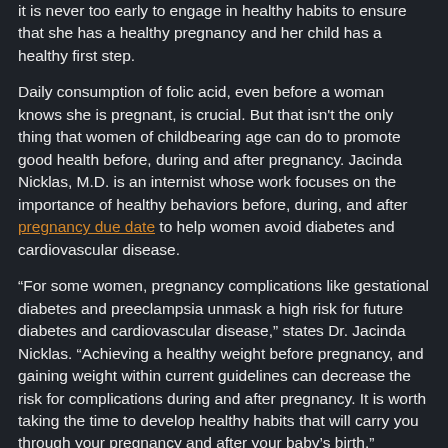it is never too early to engage in healthy habits to ensure that she has a healthy pregnancy and her child has a healthy first step.
Daily consumption of folic acid, even before a woman knows she is pregnant, is crucial. But that isn't the only thing that women of childbearing age can do to promote good health before, during and after pregnancy. Jacinda Nicklas, M.D. is an internist whose work focuses on the importance of healthy behaviors before, during, and after pregnancy due date to help women avoid diabetes and cardiovascular disease.
“For some women, pregnancy complications like gestational diabetes and preeclampsia unmask a high risk for future diabetes and cardiovascular disease,” states Dr. Jacinda Nicklas. “Achieving a healthy weight before pregnancy, and gaining weight within current guidelines can decrease the risk for complications during and after pregnancy. It is worth taking the time to develop healthy habits that will carry you through your pregnancy and after your baby’s birth.”
A sample beginning to appear...